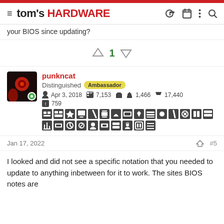tom's HARDWARE
your BIOS since updating?
↑ 1 ↓
punkncat
Distinguished Ambassador
Apr 3, 2018  7,153  1,466  17,440
759
Jan 17, 2022  #5
I looked and did not see a specific notation that you needed to update to anything inbetween for it to work. The sites BIOS notes are